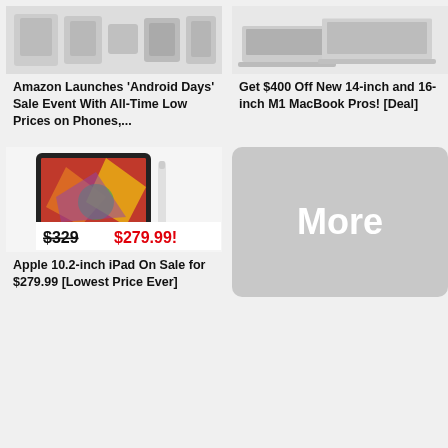[Figure (screenshot): Amazon Android Days sale product thumbnails showing phones and accessories]
Amazon Launches 'Android Days' Sale Event With All-Time Low Prices on Phones,...
[Figure (screenshot): MacBook Pro 14-inch and 16-inch laptop shown at an angle]
Get $400 Off New 14-inch and 16-inch M1 MacBook Pros! [Deal]
[Figure (screenshot): Apple 10.2-inch iPad with Apple Pencil showing colorful artwork, price tag $329 struck through and $279.99 in red]
Apple 10.2-inch iPad On Sale for $279.99 [Lowest Price Ever]
[Figure (other): Gray rounded rectangle with white bold text 'More']